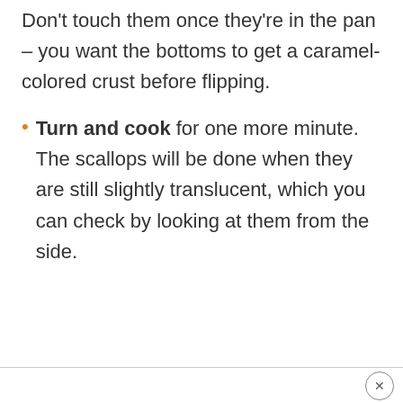Don't touch them once they're in the pan – you want the bottoms to get a caramel-colored crust before flipping.
Turn and cook for one more minute. The scallops will be done when they are still slightly translucent, which you can check by looking at them from the side.